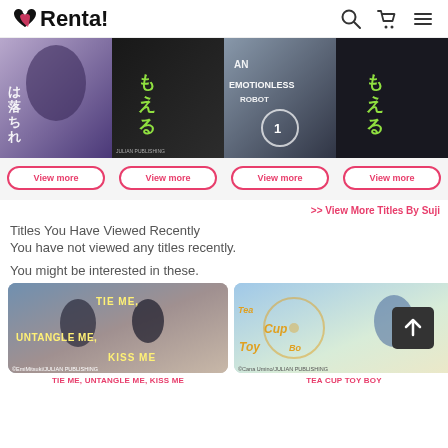Renta!
[Figure (screenshot): Row of 4 manga book covers with View more buttons below each]
>> View More Titles By Suji
Titles You Have Viewed Recently
You have not viewed any titles recently.
You might be interested in these.
[Figure (illustration): TIE ME, UNTANGLE ME, KISS ME manga cover - shows two male characters, ©EmiMitsuki/JULIAN PUBLISHING]
TIE ME, UNTANGLE ME, KISS ME
[Figure (illustration): TEA CUP TOY BOY manga cover - shows anime character with tea cup, ©Cana Umino/JULIAN PUBLISHING]
TEA CUP TOY BOY